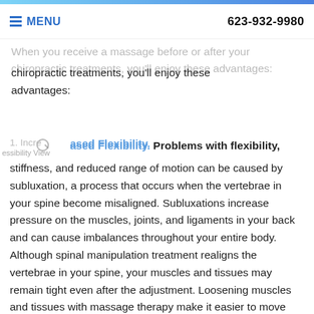MENU  623-932-9980
When you receive a massage before or after your chiropractic treatments, you'll enjoy these advantages:
1. Increased Flexibility.
Problems with flexibility, stiffness, and reduced range of motion can be caused by subluxation, a process that occurs when the vertebrae in your spine become misaligned. Subluxations increase pressure on the muscles, joints, and ligaments in your back and can cause imbalances throughout your entire body. Although spinal manipulation treatment realigns the vertebrae in your spine, your muscles and tissues may remain tight even after the adjustment. Loosening muscles and tissues with massage therapy make it easier to move without stiffness. It also breaks apart scar tissue that can restrict joint movement.